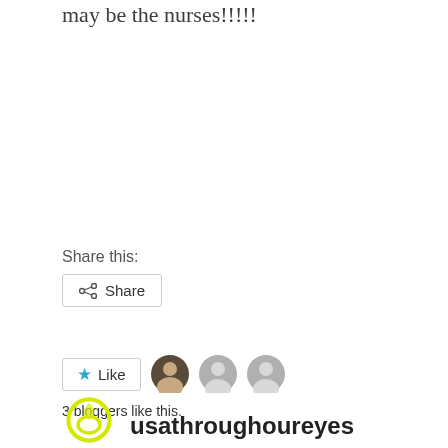may be the nurses!!!!!
Share this:
[Figure (other): Share button with share icon]
[Figure (other): Like button with star icon and 3 blogger avatars]
3 bloggers like this.
[Figure (logo): usathroughoureyes logo - yellow circular design]
usathroughoureyes